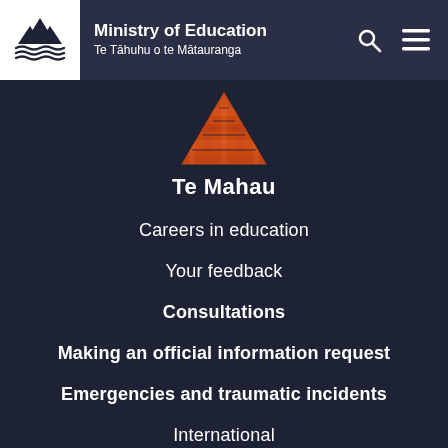Ministry of Education | Te Tāhuhu o te Mātauranga
[Figure (logo): Te Mahau logo: orange geometric pyramid/wharenui shape with text 'Te Mahau' below]
Careers in education
Your feedback
Consultations
Making an official information request
Emergencies and traumatic incidents
International
Child Protection Policy